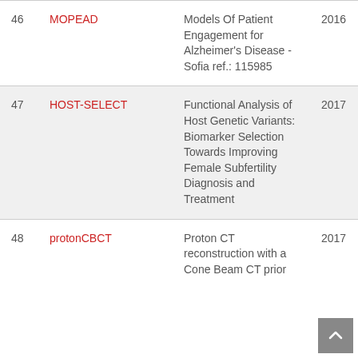| # | Name | Description | Year |
| --- | --- | --- | --- |
| 46 | MOPEAD | Models Of Patient Engagement for Alzheimer's Disease - Sofia ref.: 115985 | 2016 |
| 47 | HOST-SELECT | Functional Analysis of Host Genetic Variants: Biomarker Selection Towards Improving Female Subfertility Diagnosis and Treatment | 2017 |
| 48 | protonCBCT | Proton CT reconstruction with a Cone Beam CT prior | 2017 |